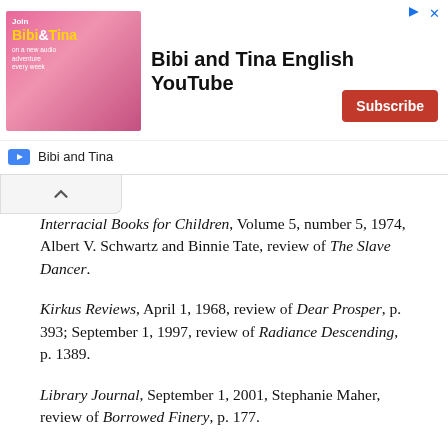[Figure (other): Advertisement banner for Bibi and Tina English YouTube channel with Subscribe button]
Interracial Books for Children, Volume 5, number 5, 1974, Albert V. Schwartz and Binnie Tate, review of The Slave Dancer.
Kirkus Reviews, April 1, 1968, review of Dear Prosper, p. 393; September 1, 1997, review of Radiance Descending, p. 1389.
Library Journal, September 1, 2001, Stephanie Maher, review of Borrowed Finery, p. 177.